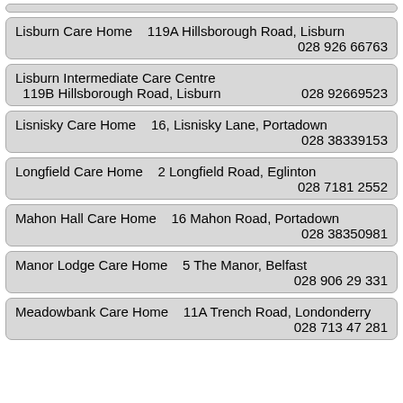Lisburn Care Home   119A Hillsborough Road, Lisburn   028 926 66763
Lisburn Intermediate Care Centre   119B Hillsborough Road, Lisburn   028 92669523
Lisnisky Care Home   16, Lisnisky Lane, Portadown   028 38339153
Longfield Care Home   2 Longfield Road, Eglinton   028 7181 2552
Mahon Hall Care Home   16 Mahon Road, Portadown   028 38350981
Manor Lodge Care Home   5 The Manor, Belfast   028 906 29 331
Meadowbank Care Home   11A Trench Road, Londonderry   028 713 47 281